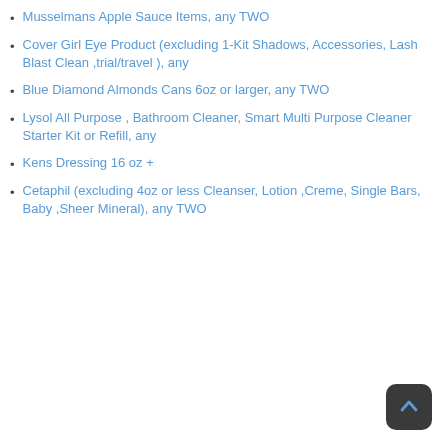Musselmans Apple Sauce Items, any TWO
Cover Girl Eye Product (excluding 1-Kit Shadows, Accessories, Lash Blast Clean ,trial/travel ), any
Blue Diamond Almonds Cans 6oz or larger, any TWO
Lysol All Purpose , Bathroom Cleaner, Smart Multi Purpose Cleaner Starter Kit or Refill, any
Kens Dressing 16 oz +
Cetaphil (excluding 4oz or less Cleanser, Lotion ,Creme, Single Bars, Baby ,Sheer Mineral), any TWO